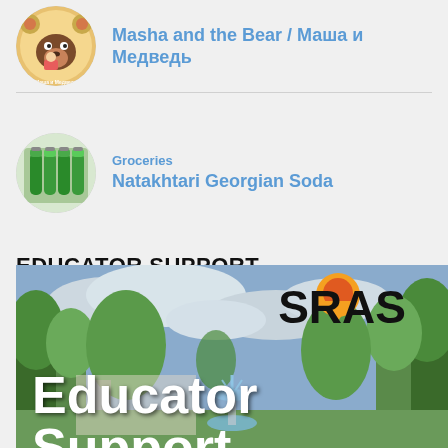[Figure (photo): Circular avatar of Masha and the Bear animated show logo]
Masha and the Bear / Маша и Медведь
[Figure (photo): Circular avatar of green Natakhtari Georgian soda bottles]
Groceries
Natakhtari Georgian Soda
EDUCATOR SUPPORT
[Figure (photo): SRAS Educator Support banner image showing a park scene with trees and a fountain, overlaid with large white text reading 'Educator Support' and the SRAS logo in the upper right.]